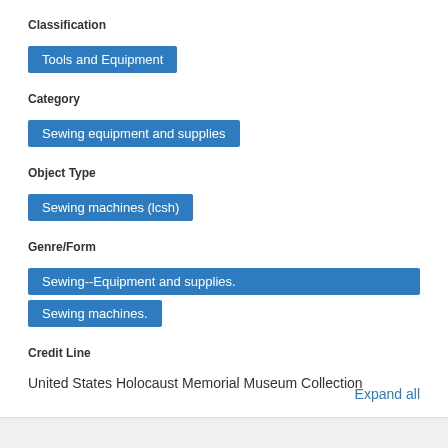Classification
Tools and Equipment
Category
Sewing equipment and supplies
Object Type
Sewing machines (lcsh)
Genre/Form
Sewing--Equipment and supplies.
Sewing machines.
Credit Line
United States Holocaust Memorial Museum Collection
Expand all